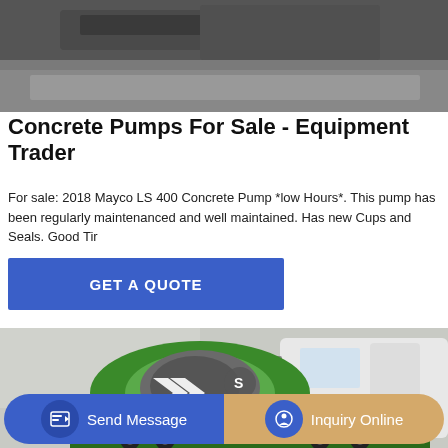[Figure (photo): Top portion of a construction/heavy equipment scene on gravel surface, showing dark machinery parts.]
Concrete Pumps For Sale - Equipment Trader
For sale: 2018 Mayco LS 400 Concrete Pump *low Hours*. This pump has been regularly maintenanced and well maintained. Has new Cups and Seals. Good Tir
[Figure (other): GET A QUOTE button in blue]
[Figure (photo): Green and grey HOWO concrete mixer truck on a grey concrete background.]
[Figure (other): Bottom navigation bar with Send Message button (blue) and Inquiry Online button (gold/tan).]